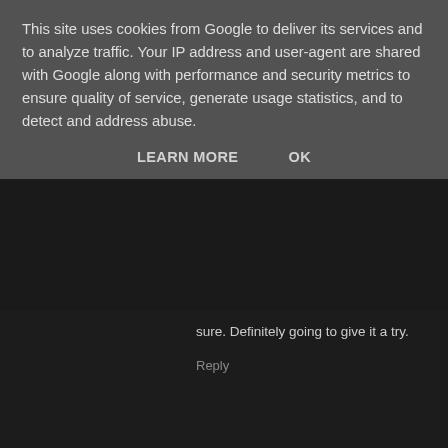This site uses cookies from Google to deliver its services and to analyze traffic. Your IP address and user-agent are shared with Google along with performance and security metrics to ensure quality of service, generate usage statistics, and to detect and address abuse.
LEARN MORE   OK
sure. Definitely going to give it a try.
Reply
Roysterini  23 October 2020 at 11:23
I'm quite a fan of this game. I never did complete it, but I often return t
Reply
To leave a comment, click the button below to sign in with
SIGN IN WITH GOOGLE